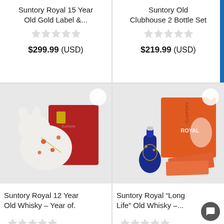Suntory Royal 15 Year Old Gold Label &...
★★★★★ (empty)
$299.99 (USD)
Suntory Old Clubhouse 2 Bottle Set
★★★★★ (empty)
$219.99 (USD)
[Figure (photo): White ceramic animal-shaped whisky bottle (rabbit/rat) with red floral decoration, with red box behind it]
Suntory Royal 12 Year Old Whisky – Year of.
★★★★★ (empty)
[Figure (photo): Blue decorative whisky bottle with orange/red box labeled ROYAL, and orange cards/pamphlets in front]
Suntory Royal "Long Life" Old Whisky –...